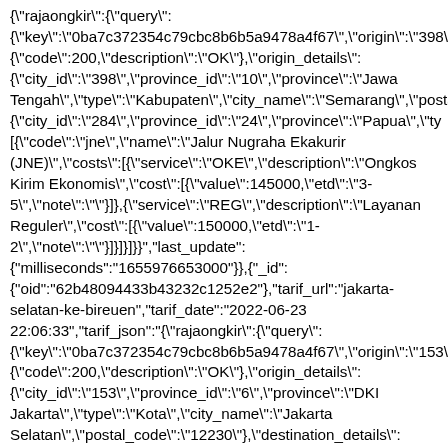{"rajaongkir":{"query": {"key":"0ba7c372354c79cbc8b6b5a9478a4f67","origin":"398" {"code":200,"description":"OK"},"origin_details": {"city_id":"398","province_id":"10","province":"Jawa Tengah","type":"Kabupaten","city_name":"Semarang","posta {"city_id":"284","province_id":"24","province":"Papua","ty [{"code":"jne","name":"Jalur Nugraha Ekakurir (JNE)","costs":[{"service":"OKE","description":"Ongkos Kirim Ekonomis","cost":[{"value":145000,"etd":"3-5","note":""}]},{"service":"REG","description":"Layanan Reguler","cost":[{"value":150000,"etd":"1-2","note":""}]}]}]}}"